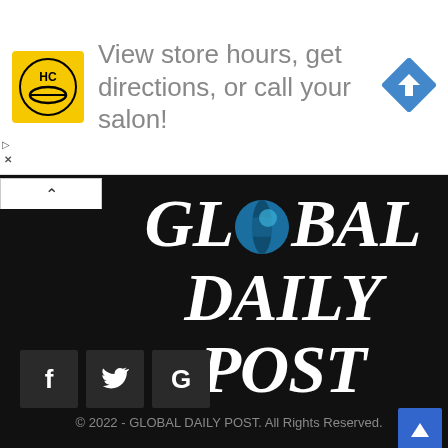[Figure (screenshot): Advertisement banner with HC salon logo, text 'View store hours, get directions, or call your salon!' and a blue diamond navigation arrow icon]
[Figure (logo): Global Daily Post logo in large bold italic white serif font on black background, with a blue globe icon replacing the 'O' in GLOBAL]
[Figure (infographic): Three social media icon buttons: f (Facebook), bird (Twitter), G (Google) in dark gray square buttons]
© 2022 - GLOBAL DAILY POST. All Rights Reserved.